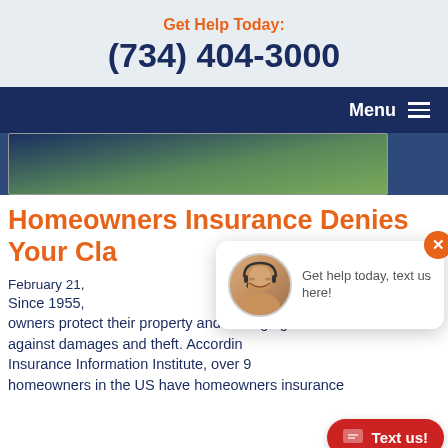Get Help Today:
(734) 404-3000
Menu
[Figure (photo): Aerial or top-down photo of a house property with green lawn and driveway]
Homeowners Insurance Denies Your Claim
February 21,
Since 1955, owners protect their property and belongings against damages and theft. According Insurance Information Institute, over 9 homeowners in the US have homeowners insurance
[Figure (photo): Chat popup with a customer service agent avatar and message: Get help today, text us here!]
[Figure (other): Text us! button in red rounded rectangle with chat icon]